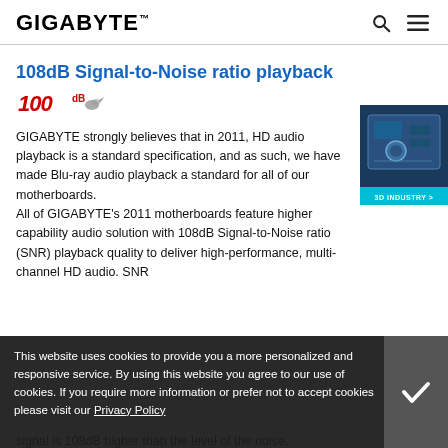GIGABYTE
108dB Signal-to-Noise ratio playback
[Figure (logo): 100dB badge logo with stylized text and small bird/eagle graphic]
GIGABYTE strongly believes that in 2011, HD audio playback is a standard specification, and as such, we have made Blu-ray audio playback a standard for all of our motherboards.
All of GIGABYTE's 2011 motherboards feature higher capability audio solution with 108dB Signal-to-Noise ratio (SNR) playback quality to deliver high-performance, multi-channel HD audio. SNR
[Figure (photo): 3D Industry advertisement showing motherboard components with teal/blue color scheme and '3D INDUSTRY >' label]
This website uses cookies to provide you a more personalized and responsive service. By using this website you agree to our use of cookies. If you require more information or prefer not to accept cookies please visit our Privacy Policy
signal is 108dB higher than the level of the noise.